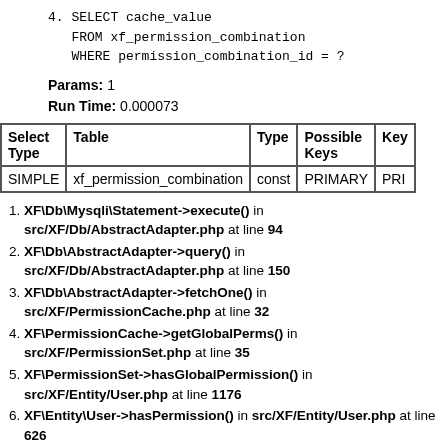4. SELECT cache_value
   FROM xf_permission_combination
   WHERE permission_combination_id = ?
Params: 1
Run Time: 0.000073
| Select Type | Table | Type | Possible Keys | Key |
| --- | --- | --- | --- | --- |
| SIMPLE | xf_permission_combination | const | PRIMARY | PRI |
XF\Db\Mysqli\Statement->execute() in src/XF/Db/AbstractAdapter.php at line 94
XF\Db\AbstractAdapter->query() in src/XF/Db/AbstractAdapter.php at line 150
XF\Db\AbstractAdapter->fetchOne() in src/XF/PermissionCache.php at line 32
XF\PermissionCache->getGlobalPerms() in src/XF/PermissionSet.php at line 35
XF\PermissionSet->hasGlobalPermission() in src/XF/Entity/User.php at line 1176
XF\Entity\User->hasPermission() in src/XF/Entity/User.php at line 626
XF\Entity\User->canSearch()
call_user_func_array() in src/XF/Template/Templater.php at line 1166